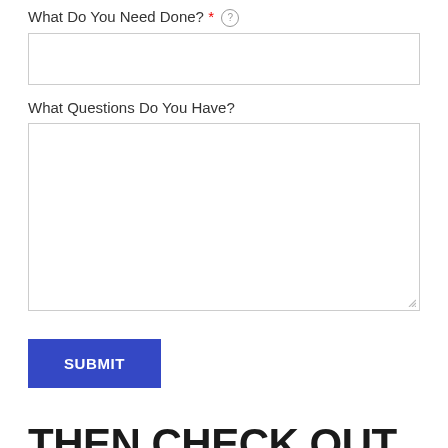What Do You Need Done? * (?)
[Figure (other): Empty text input field]
What Questions Do You Have?
[Figure (other): Large empty textarea input field with resize handle]
SUBMIT
THEN CHECK OUT OUR